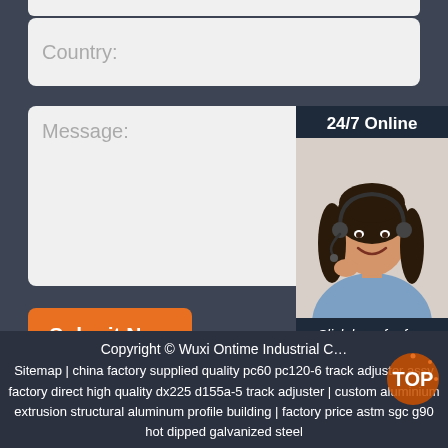Country:
Message:
[Figure (photo): 24/7 Online customer service representative — woman with headset smiling, with 'Click here for free chat!' text and QUOTATION button below]
Submit Now
Copyright © Wuxi Ontime Industrial C… Sitemap | china factory supplied quality pc60 pc120-6 track adjuster assy factory direct high quality dx225 d155a-5 track adjuster | custom aluminium extrusion structural aluminum profile building | factory price astm sgc g90 hot dipped galvanized steel